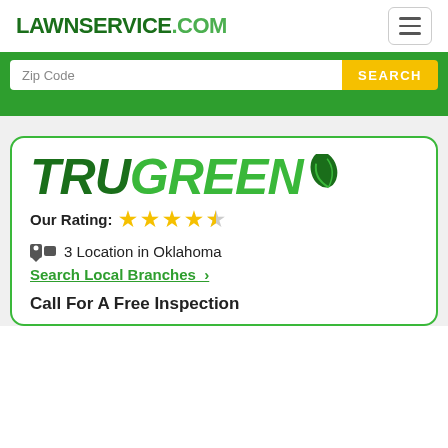LAWNSERVICE.COM
[Figure (screenshot): Search bar with Zip Code input and yellow SEARCH button on green background]
[Figure (logo): TruGreen company logo in green italic bold font with leaf icon]
Our Rating: ★★★★☆
3 Location in Oklahoma
Search Local Branches >
Call For A Free Inspection